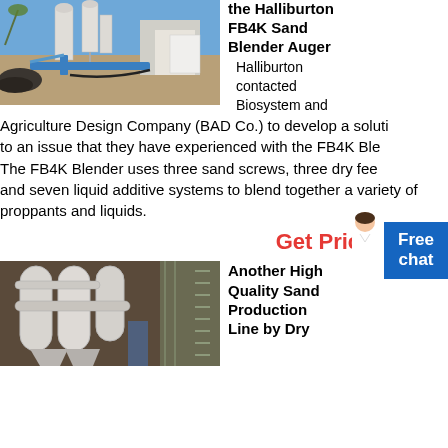[Figure (photo): Industrial sand processing facility with large cylindrical equipment, pipes, and conveyor systems outdoors under a blue sky]
the Halliburton FB4K Sand Blender Auger
Halliburton contacted Biosystem and Agriculture Design Company (BAD Co.) to develop a solution to an issue that they have experienced with the FB4K Blender. The FB4K Blender uses three sand screws, three dry feed and seven liquid additive systems to blend together a variety of proppants and liquids.
Get Price
[Figure (photo): Industrial equipment showing large white cylindrical pipes and machinery inside a factory or production facility]
Another High Quality Sand Production Line by Dry